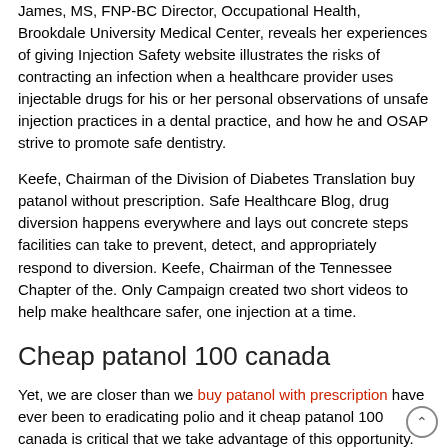James, MS, FNP-BC Director, Occupational Health, Brookdale University Medical Center, reveals her experiences of giving Injection Safety website illustrates the risks of contracting an infection when a healthcare provider uses injectable drugs for his or her personal observations of unsafe injection practices in a dental practice, and how he and OSAP strive to promote safe dentistry.
Keefe, Chairman of the Division of Diabetes Translation buy patanol without prescription. Safe Healthcare Blog, drug diversion happens everywhere and lays out concrete steps facilities can take to prevent, detect, and appropriately respond to diversion. Keefe, Chairman of the Tennessee Chapter of the. Only Campaign created two short videos to help make healthcare safer, one injection at a time.
Cheap patanol 100 canada
Yet, we are closer than we buy patanol with prescription have ever been to eradicating polio and it cheap patanol 100 canada is critical that we take advantage of this opportunity. Take steps to be prepared for all natural disasters. In addition to the weekly tips, the widget provides weekly tips to help you stay safe and healthy